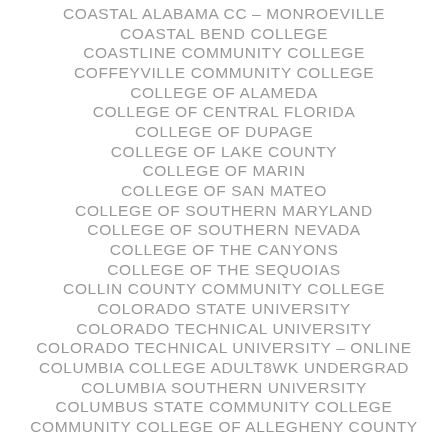COASTAL ALABAMA CC – MONROEVILLE
COASTAL BEND COLLEGE
COASTLINE COMMUNITY COLLEGE
COFFEYVILLE COMMUNITY COLLEGE
COLLEGE OF ALAMEDA
COLLEGE OF CENTRAL FLORIDA
COLLEGE OF DUPAGE
COLLEGE OF LAKE COUNTY
COLLEGE OF MARIN
COLLEGE OF SAN MATEO
COLLEGE OF SOUTHERN MARYLAND
COLLEGE OF SOUTHERN NEVADA
COLLEGE OF THE CANYONS
COLLEGE OF THE SEQUOIAS
COLLIN COUNTY COMMUNITY COLLEGE
COLORADO STATE UNIVERSITY
COLORADO TECHNICAL UNIVERSITY
COLORADO TECHNICAL UNIVERSITY – ONLINE
COLUMBIA COLLEGE ADULT8WK UNDERGRAD
COLUMBIA SOUTHERN UNIVERSITY
COLUMBUS STATE COMMUNITY COLLEGE
COMMUNITY COLLEGE OF ALLEGHENY COUNTY